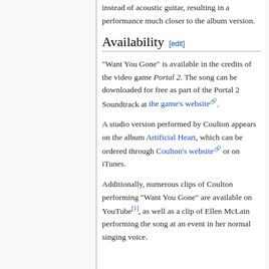instead of acoustic guitar, resulting in a performance much closer to the album version.
Availability [edit]
"Want You Gone" is available in the credits of the video game Portal 2. The song can be downloaded for free as part of the Portal 2 Soundtrack at the game's website.
A studio version performed by Coulton appears on the album Artificial Heart, which can be ordered through Coulton's website or on iTunes.
Additionally, numerous clips of Coulton performing "Want You Gone" are available on YouTube[1], as well as a clip of Ellen McLain performing the song at an event in her normal singing voice.